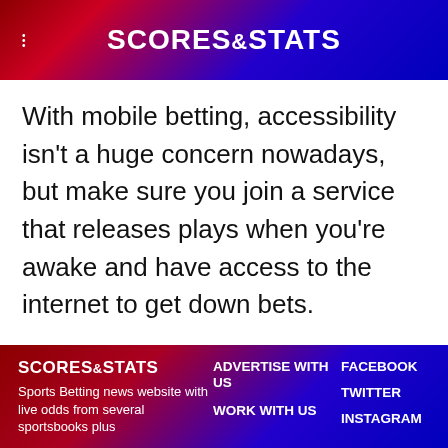SCORES & STATS
With mobile betting, accessibility isn't a huge concern nowadays, but make sure you join a service that releases plays when you're awake and have access to the internet to get down bets.
SCORES & STATS | Sports Betting news website with live odds from several sportsbooks plus | ADVERTISE WITH US | WORK WITH US | FACEBOOK | TWITTER | INSTAGRAM